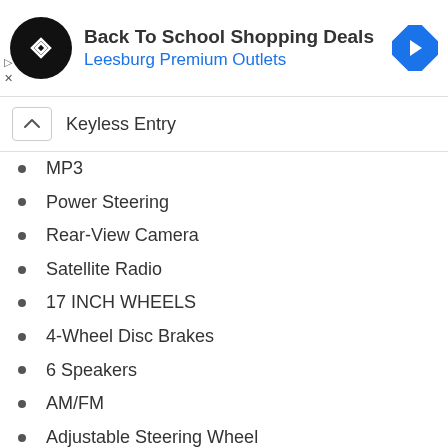[Figure (infographic): Advertisement banner for Back To School Shopping Deals at Leesburg Premium Outlets with logo and navigation icon]
Keyless Entry
MP3
Power Steering
Rear-View Camera
Satellite Radio
17 INCH WHEELS
4-Wheel Disc Brakes
6 Speakers
AM/FM
Adjustable Steering Wheel
Anti-Lock Brakes
Anti-Theft System
Automatic Headlights
Aux Audio Adapter
Braking Assist